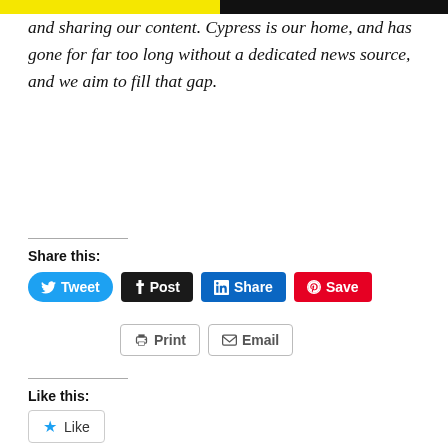and sharing our content. Cypress is our home, and has gone for far too long without a dedicated news source, and we aim to fill that gap.
Share this:
[Figure (screenshot): Social share buttons: Tweet (Twitter/blue), Post (Tumblr/black), Share (LinkedIn/blue), Save (Pinterest/red), Print (grey outline), Email (grey outline)]
Like this:
[Figure (screenshot): WordPress Like button with blue star icon and text 'Like']